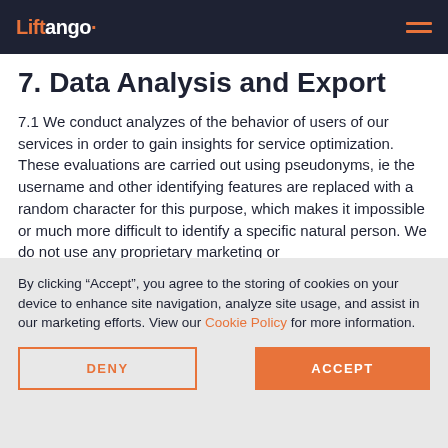Liftango (logo) with hamburger menu
7. Data Analysis and Export
7.1 We conduct analyzes of the behavior of users of our services in order to gain insights for service optimization. These evaluations are carried out using pseudonyms, ie the username and other identifying features are replaced with a random character for this purpose, which makes it impossible or much more difficult to identify a specific natural person. We do not use any proprietary marketing or
By clicking “Accept”, you agree to the storing of cookies on your device to enhance site navigation, analyze site usage, and assist in our marketing efforts. View our Cookie Policy for more information.
DENY
ACCEPT